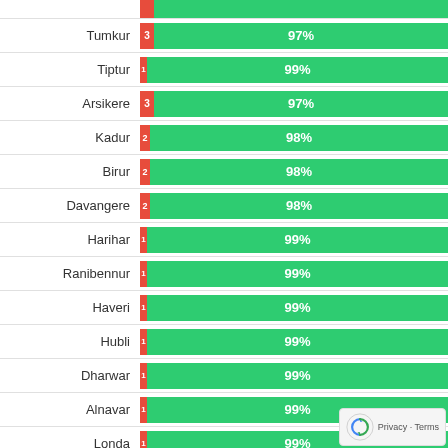[Figure (stacked-bar-chart): City-wise percentage breakdown]